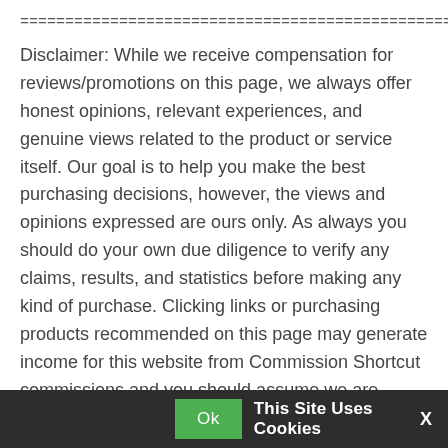================================================
Disclaimer: While we receive compensation for reviews/promotions on this page, we always offer honest opinions, relevant experiences, and genuine views related to the product or service itself. Our goal is to help you make the best purchasing decisions, however, the views and opinions expressed are ours only. As always you should do your own due diligence to verify any claims, results, and statistics before making any kind of purchase. Clicking links or purchasing products recommended on this page may generate income for this website from Commission Shortcut commissions and you should assume we are compensated for any purchases you make.
================================================
Ok  This Site Uses Cookies  X